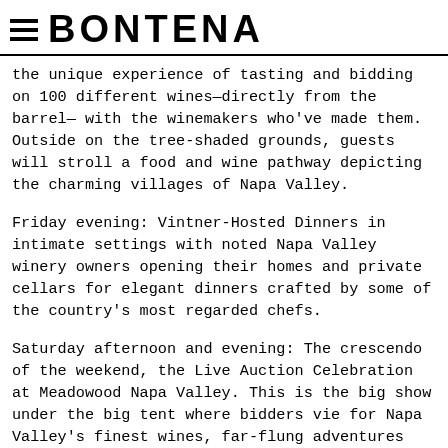BONTENA
the unique experience of tasting and bidding on 100 different wines—directly from the barrel— with the winemakers who've made them. Outside on the tree-shaded grounds, guests will stroll a food and wine pathway depicting the charming villages of Napa Valley.
Friday evening: Vintner-Hosted Dinners in intimate settings with noted Napa Valley winery owners opening their homes and private cellars for elegant dinners crafted by some of the country's most regarded chefs.
Saturday afternoon and evening: The crescendo of the weekend, the Live Auction Celebration at Meadowood Napa Valley. This is the big show under the big tent where bidders vie for Napa Valley's finest wines, far-flung adventures and treasures of the rarest kind. Once the last gavel falls, guests will enjoy an Italian-